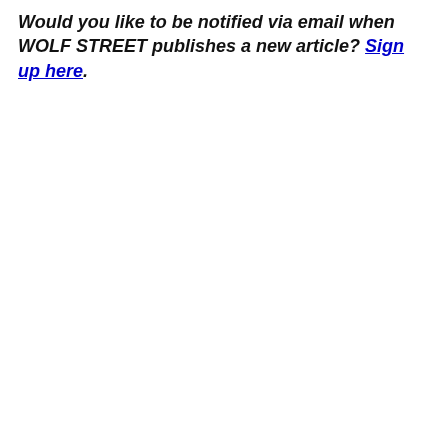Would you like to be notified via email when WOLF STREET publishes a new article? Sign up here.